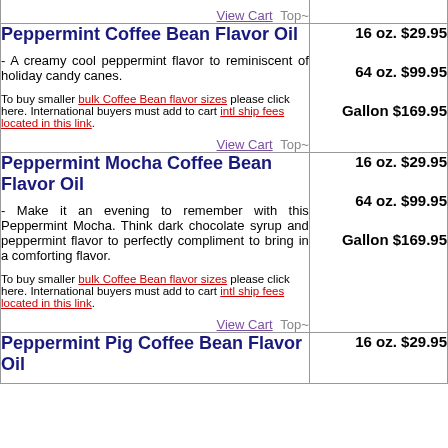View Cart Top~
Peppermint Coffee Bean Flavor Oil
- A creamy cool peppermint flavor to reminiscent of holiday candy canes.
To buy smaller bulk Coffee Bean flavor sizes please click here. International buyers must add to cart intl ship fees located in this link.
16 oz. $29.95
64 oz. $99.95
Gallon $169.95
View Cart Top~
Peppermint Mocha Coffee Bean Flavor Oil
- Make it an evening to remember with this Peppermint Mocha. Think dark chocolate syrup and peppermint flavor to perfectly compliment to bring in a comforting flavor.
To buy smaller bulk Coffee Bean flavor sizes please click here. International buyers must add to cart intl ship fees located in this link.
16 oz. $29.95
64 oz. $99.95
Gallon $169.95
View Cart Top~
Peppermint Pig Coffee Bean Flavor Oil
16 oz. $29.95